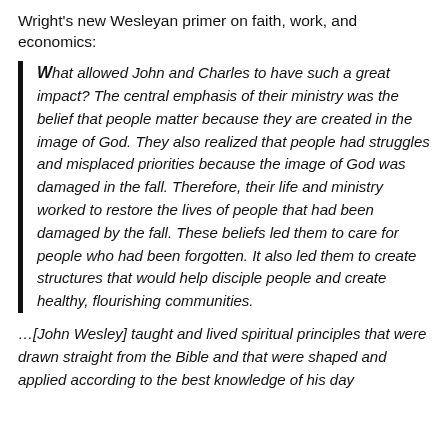Wright's new Wesleyan primer on faith, work, and economics:
What allowed John and Charles to have such a great impact? The central emphasis of their ministry was the belief that people matter because they are created in the image of God. They also realized that people had struggles and misplaced priorities because the image of God was damaged in the fall. Therefore, their life and ministry worked to restore the lives of people that had been damaged by the fall. These beliefs led them to care for people who had been forgotten. It also led them to create structures that would help disciple people and create healthy, flourishing communities.
…[John Wesley] taught and lived spiritual principles that were drawn straight from the Bible and that were shaped and applied according to the best knowledge of his day